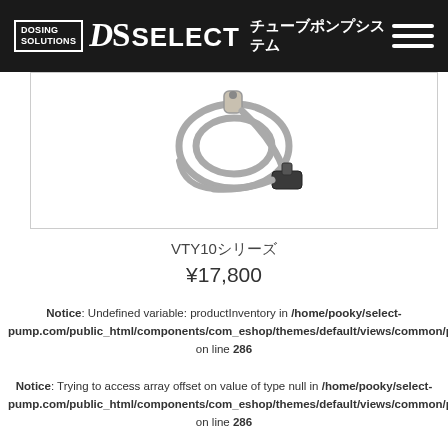DS SELECT DOSING SOLUTIONS チューブポンプシステム
[Figure (photo): Product photo: a coiled gray cable with connectors, on white background]
VTY10シリーズ
¥17,800
Notice: Undefined variable: productInventory in /home/pooky/select-pump.com/public_html/components/com_eshop/themes/default/views/common/products.php on line 286
Notice: Trying to access array offset on value of type null in /home/pooky/select-pump.com/public_html/components/com_eshop/themes/default/views/common/products.php on line 286